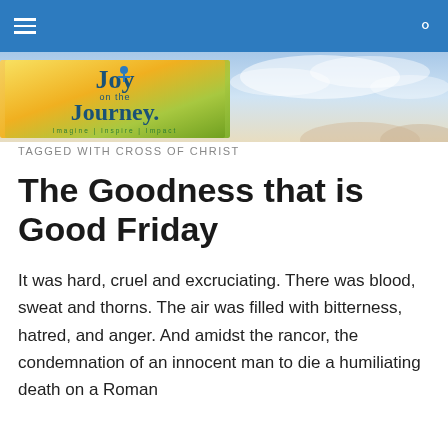Joy on the Journey — menu and search icons
[Figure (logo): Joy on the Journey logo with tagline 'Imagine | Inspire | Impact' on a yellow/green gradient background, with a sky and landscape banner behind it]
TAGGED WITH CROSS OF CHRIST
The Goodness that is Good Friday
It was hard, cruel and excruciating. There was blood, sweat and thorns. The air was filled with bitterness, hatred, and anger. And amidst the rancor, the condemnation of an innocent man to die a humiliating death on a Roman